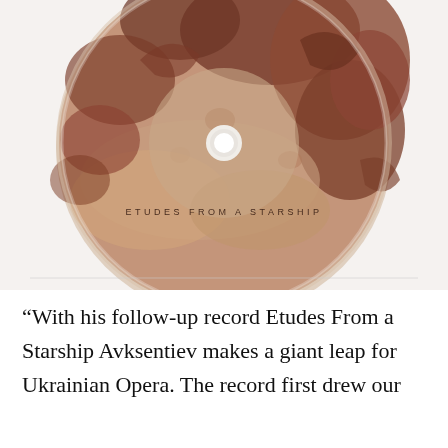[Figure (photo): A CD disc with a Mars-surface photograph printed on its face. Text on the disc reads 'ETUDES FROM A STARSHIP' in spaced capital letters. The disc is photographed against a white background.]
“With his follow-up record Etudes From a Starship Avksentiev makes a giant leap for Ukrainian Opera. The record first drew our